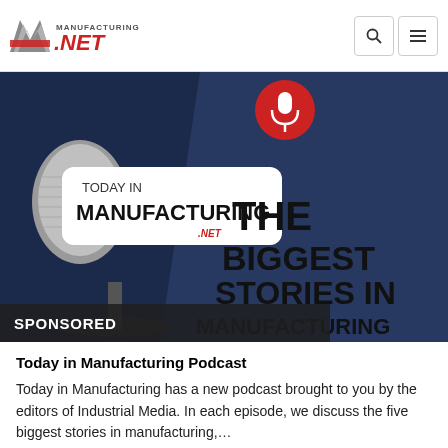Manufacturing.NET
[Figure (screenshot): Today in Manufacturing podcast promotional banner showing a microphone with dark navy blue background. Left side shows a white rounded rectangle label reading 'TODAY IN MANUFACTURING' with the Manufacturing.NET logo. Right side shows bold black text: 'THE BIGGEST STORIES IN MANUFACTURING'. A red 'SPONSORED' bar overlay appears at the bottom left.]
Today in Manufacturing Podcast
Today in Manufacturing has a new podcast brought to you by the editors of Industrial Media. In each episode, we discuss the five biggest stories in manufacturing,…